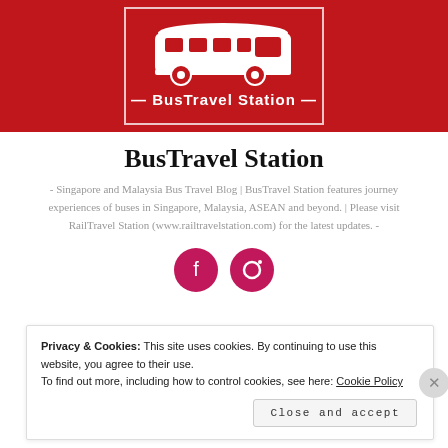[Figure (logo): BusTravel Station logo — red banner with white silhouette bus inside a white rectangle border, with text 'BusTravel Station' below the bus]
BusTravel Station
- Singapore and Malaysia Bus Travel Blog | BusTravel Station features journey experiences of buses in Singapore, Malaysia, ASEAN and beyond. | Please visit RailTravel Station (www.railtravelstation.com) for the latest updates. -
[Figure (illustration): Two circular pink/magenta social media icon buttons (partially visible)]
Privacy & Cookies: This site uses cookies. By continuing to use this website, you agree to their use. To find out more, including how to control cookies, see here: Cookie Policy
Close and accept